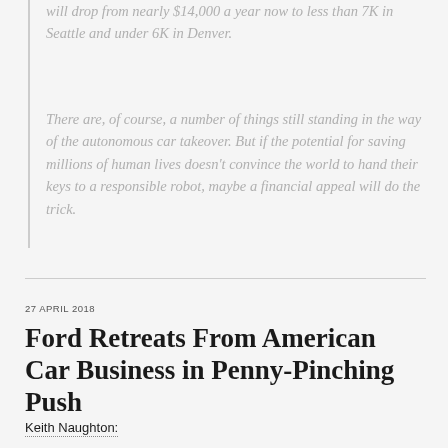will drop from nearly $14,000 a year now to less than 7K in Seattle and under 6K in Denver.
There are, of course, a number of things still standing in the way of the autonomous car takeover. But if the potential for saving millions of human lives doesn't convince the world to hand their keys to a responsible robot, maybe a financial appeal will do the trick.
27 APRIL 2018
Ford Retreats From American Car Business in Penny-Pinching Push
Keith Naughton: